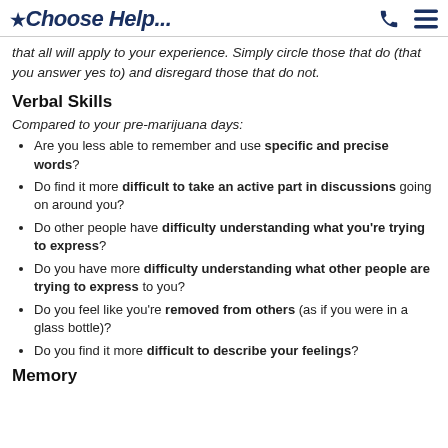*Choose Help...
that all will apply to your experience. Simply circle those that do (that you answer yes to) and disregard those that do not.
Verbal Skills
Compared to your pre-marijuana days:
Are you less able to remember and use specific and precise words?
Do find it more difficult to take an active part in discussions going on around you?
Do other people have difficulty understanding what you're trying to express?
Do you have more difficulty understanding what other people are trying to express to you?
Do you feel like you're removed from others (as if you were in a glass bottle)?
Do you find it more difficult to describe your feelings?
Memory